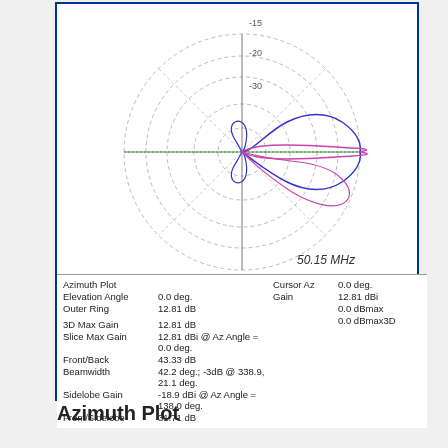[Figure (continuous-plot): EZNEC antenna azimuth polar plot at 50.15 MHz showing radiation pattern with two overlapping lobes (blue and pink/magenta). The main lobe extends to the right (east) reaching the outer ring at 12.81 dBi. Concentric dashed circles at -15, -20, -30 dB levels. Green dotted horizontal line marks 0 deg elevation. Blue and pink pattern curves show directional gain.]
50.15 MHz
Azimuth Plot | Cursor Az 0.0 deg. | Elevation Angle 0.0 deg. | Gain 12.81 dBi | Outer Ring 12.81 dB | 0.0 dBmax | 0.0 dBmax3D | 3D Max Gain 12.81 dB | Slice Max Gain 12.81 dBi @ Az Angle = 0.0 deg. | Front/Back 43.33 dB | Beamwidth 42.2 deg.; -3dB @ 338.9, 21.1 deg. | Sidelobe Gain -18.9 dBi @ Az Angle = 138.0 deg. | Front/Sidelobe 31.71 dB
Azimuth Plot
[Figure (screenshot): Windows application titlebar: '2D Plot: 7el InnovAntennas 50MHz LFA2' with File Edit View Options Reset menu bar and 'Total Field' tab and 'EZNEC Pro/4' label]